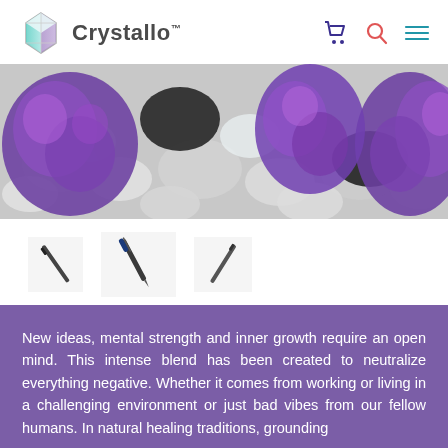Crystallo™
[Figure (photo): Close-up photo of purple amethyst crystals and black tourmaline stones among clear/white river pebbles]
[Figure (photo): Three thumbnail product images of crystal wand/pen products shown at angles]
New ideas, mental strength and inner growth require an open mind. This intense blend has been created to neutralize everything negative. Whether it comes from working or living in a challenging environment or just bad vibes from our fellow humans. In natural healing traditions, grounding